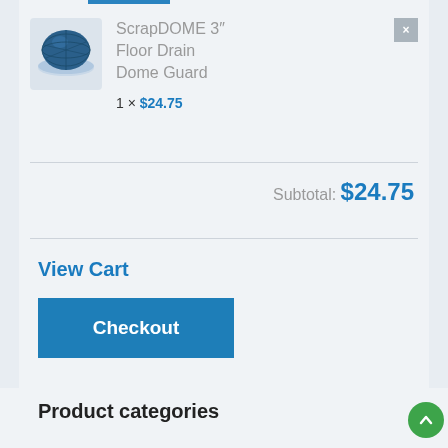[Figure (photo): Blue ScrapDOME 3 inch floor drain dome guard product image]
ScrapDOME 3″ Floor Drain Dome Guard
1 × $24.75
Subtotal: $24.75
View Cart
Checkout
Product categories